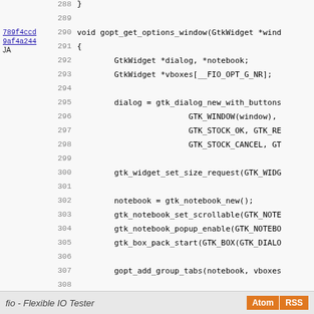Code listing lines 288-316 showing C function gopt_get_options_window with GTK widget calls
fio - Flexible IO Tester  Atom  RSS